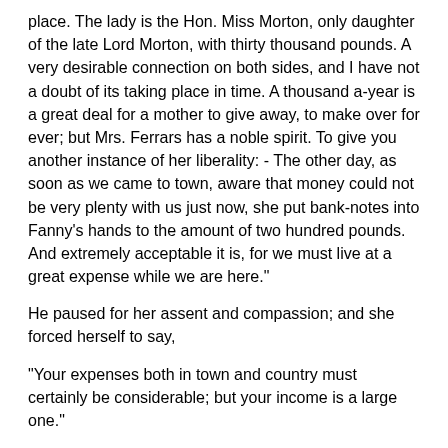place. The lady is the Hon. Miss Morton, only daughter of the late Lord Morton, with thirty thousand pounds. A very desirable connection on both sides, and I have not a doubt of its taking place in time. A thousand a-year is a great deal for a mother to give away, to make over for ever; but Mrs. Ferrars has a noble spirit. To give you another instance of her liberality: - The other day, as soon as we came to town, aware that money could not be very plenty with us just now, she put bank-notes into Fanny's hands to the amount of two hundred pounds. And extremely acceptable it is, for we must live at a great expense while we are here."
He paused for her assent and compassion; and she forced herself to say,
"Your expenses both in town and country must certainly be considerable; but your income is a large one."
"Not so large, I dare say, as many people suppose. I do not mean to complain, however; it is undoubtedly a comfortable one, and I hope will in time be better. The enclosure of Norland Common, now carrying on, is a most serious drain. And then I have made a little purchase within this half year; East Kingham Farm, you must remember the place,